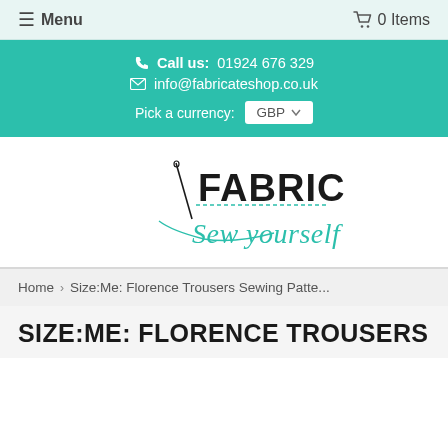☰ Menu   🛒 0 Items
📞 Call us: 01924 676 329
✉ info@fabricateshop.co.uk
Pick a currency: GBP
[Figure (logo): Fabricate Sew yourself logo with needle illustration]
Home › Size:Me: Florence Trousers Sewing Patte...
SIZE:ME: FLORENCE TROUSERS